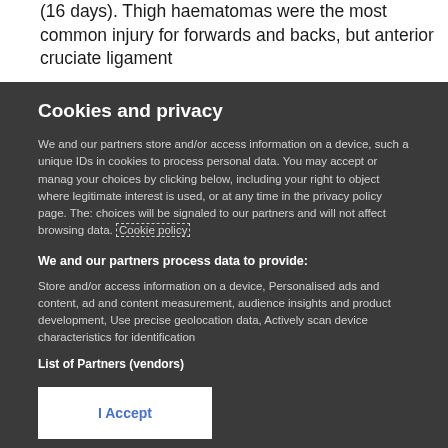(16 days). Thigh haematomas were the most common injury for forwards and backs, but anterior cruciate ligament
Cookies and privacy
We and our partners store and/or access information on a device, such as unique IDs in cookies to process personal data. You may accept or manage your choices by clicking below, including your right to object where legitimate interest is used, or at any time in the privacy policy page. These choices will be signaled to our partners and will not affect browsing data. Cookie policy
We and our partners process data to provide:
Store and/or access information on a device, Personalised ads and content, ad and content measurement, audience insights and product development, Use precise geolocation data, Actively scan device characteristics for identification
List of Partners (vendors)
I Accept